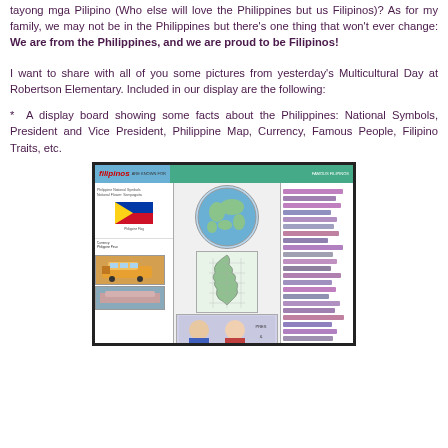tayong mga Pilipino (Who else will love the Philippines but us Filipinos)? As for my family, we may not be in the Philippines but there's one thing that won't ever change: We are from the Philippines, and we are proud to be Filipinos!
I want to share with all of you some pictures from yesterday's Multicultural Day at Robertson Elementary. Included in our display are the following:
* A display board showing some facts about the Philippines: National Symbols, President and Vice President, Philippine Map, Currency, Famous People, Filipino Traits, etc.
[Figure (photo): A display board about the Philippines showing a Philippine map, world map circle, Philippine flag, photos of the president and vice president, and Filipino traits labels including 'Being Hospitable', 'Being Polite', 'Being Hard Workers!', 'Being Family Oriented', and 'Filipinos Are Known For']